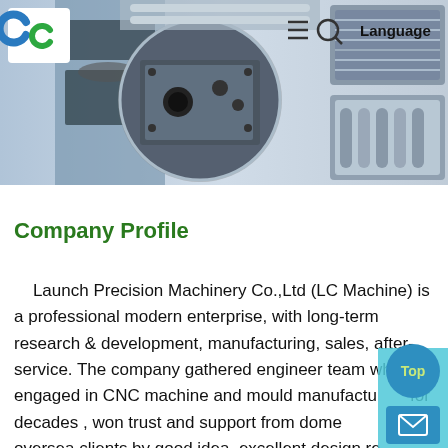[Figure (photo): Website header banner showing manufacturing/CNC machinery collage photos with company logo, hamburger menu, search icon, and Language navigation on right]
Company Profile
Launch Precision Machinery Co.,Ltd (LC Machine) is a professional modern enterprise, with long-term research & development, manufacturing, sales, after-service. The company gathered engineer team who engaged in CNC machine and mould manufacturing for decades , won trust and support from domestic and oversea clients by good idea, excellent design,re